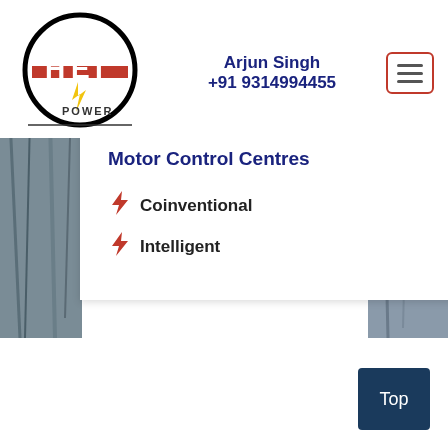[Figure (logo): HEI Power logo — circular black border with red and white HEI lettering, lightning bolt, and POWER text below]
Arjun Singh
+91 9314994455
[Figure (other): Hamburger menu icon — three horizontal lines inside a red-bordered rectangle]
Motor Control Centres
Coinventional
Intelligent
Top